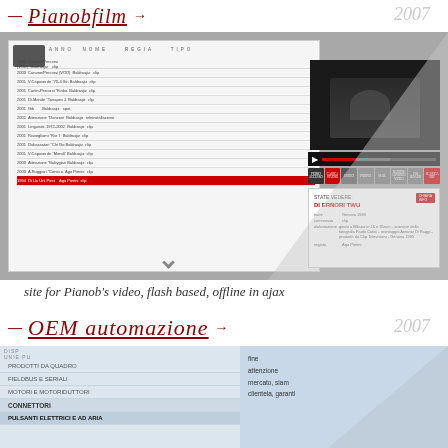← Pianobfilm →  2007
[Figure (screenshot): Screenshot of Pianobfilm website showing a video archive list panel on the left and a video player with controls, info panel, and navigation buttons on the right. The interface is flash-based with dark video player and red/grey button controls.]
site for Pianob's video, flash based, offline in ajax
← OEM automazione →  2007
[Figure (screenshot): Screenshot of OEM automazione website showing a left navigation menu with categories: PRODOTTI DA QUADRO, FIELDBUS E SERIALI, MOTORI E MOTORIDUTTORI, CONNETTORI (highlighted), PULSANTI ELETTRICI E AD ARIA. Right side shows partial text content about the company's market/clientele.]